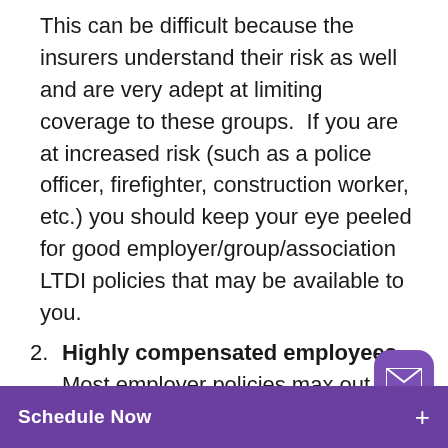This can be difficult because the insurers understand their risk as well and are very adept at limiting coverage to these groups.  If you are at increased risk (such as a police officer, firefighter, construction worker, etc.) you should keep your eye peeled for good employer/group/association LTDI policies that may be available to you.
2. Highly compensated employees – Most employer policies max out at $5-10k per month so the higher
Schedule Now +